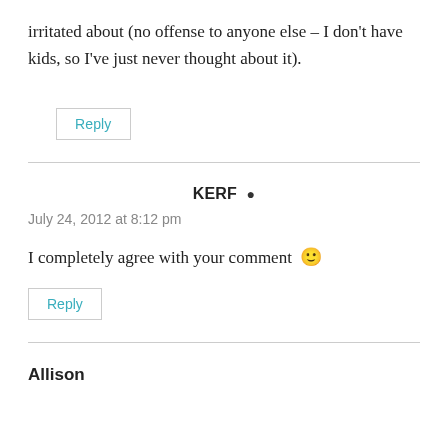irritated about (no offense to anyone else – I don't have kids, so I've just never thought about it).
Reply
KERF
July 24, 2012 at 8:12 pm
I completely agree with your comment 🙂
Reply
Allison